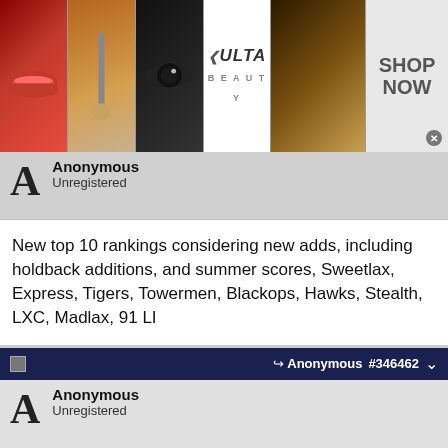[Figure (photo): Ulta Beauty advertisement banner with makeup/beauty images and SHOP NOW call to action]
Anonymous
Unregistered
New top 10 rankings considering new adds, including holdback additions, and summer scores, Sweetlax, Express, Tigers, Towermen, Blackops, Hawks, Stealth, LXC, Madlax, 91 LI
Anonymous #346462
Anonymous
Unregistered
Originally Posted by Anonymous
[Figure (photo): Bloomingdales advertisement with View Today's Top Deals and SHOP NOW > button]